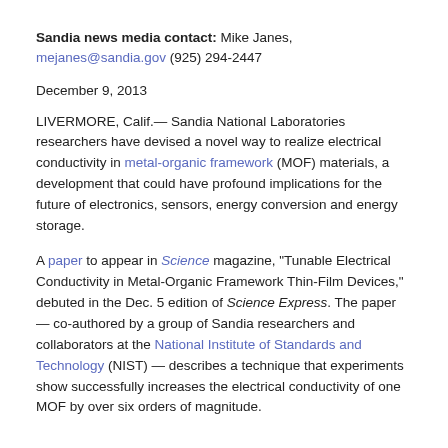Sandia news media contact: Mike Janes, mejanes@sandia.gov (925) 294-2447
December 9, 2013
LIVERMORE, Calif.— Sandia National Laboratories researchers have devised a novel way to realize electrical conductivity in metal-organic framework (MOF) materials, a development that could have profound implications for the future of electronics, sensors, energy conversion and energy storage.
A paper to appear in Science magazine, “Tunable Electrical Conductivity in Metal-Organic Framework Thin-Film Devices,” debuted in the Dec. 5 edition of Science Express. The paper — co-authored by a group of Sandia researchers and collaborators at the National Institute of Standards and Technology (NIST) — describes a technique that experiments show successfully increases the electrical conductivity of one MOF by over six orders of magnitude.